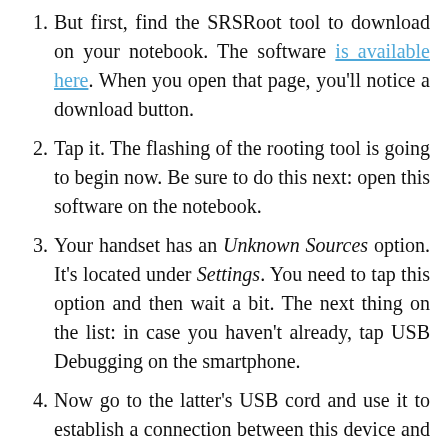But first, find the SRSRoot tool to download on your notebook. The software is available here. When you open that page, you'll notice a download button.
Tap it. The flashing of the rooting tool is going to begin now. Be sure to do this next: open this software on the notebook.
Your handset has an Unknown Sources option. It's located under Settings. You need to tap this option and then wait a bit. The next thing on the list: in case you haven't already, tap USB Debugging on the smartphone.
Now go to the latter's USB cord and use it to establish a connection between this device and your notebook. The plugging is going to be done in a couple of minutes.
Continue with this: tap Root Device (All Methods). If you've tapped this option, give the rooting some space because it will start shortly.